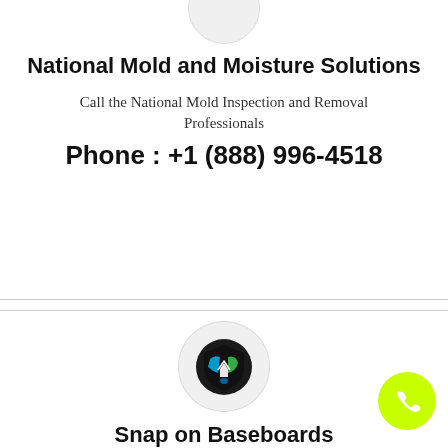[Figure (logo): Circular logo placeholder at top of card]
National Mold and Moisture Solutions
Call the National Mold Inspection and Removal Professionals
Phone : +1 (888) 996-4518
[Figure (logo): National Mold and Moisture Solutions shield logo in circle]
[Figure (illustration): Lime green phone FAB button]
Snap on Baseboards